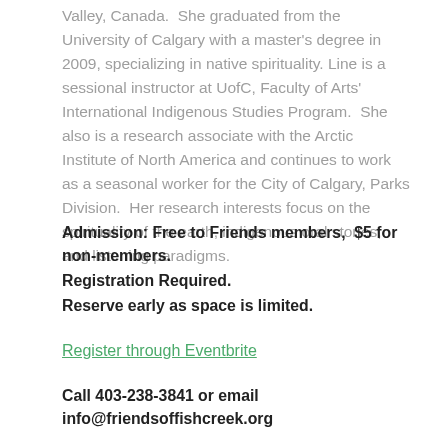Valley, Canada.  She graduated from the University of Calgary with a master's degree in 2009, specializing in native spirituality. Line is a sessional instructor at UofC, Faculty of Arts' International Indigenous Studies Program.  She also is a research associate with the Arctic Institute of North America and continues to work as a seasonal worker for the City of Calgary, Parks Division.  Her research interests focus on the spirituality of the earth, indigenous oral stories, and listening paradigms.
Admission: Free to Friends members,  $5 for non-members.
Registration Required.
Reserve early as space is limited.
Register through Eventbrite
Call 403-238-3841 or email info@friendsoffishcreek.org